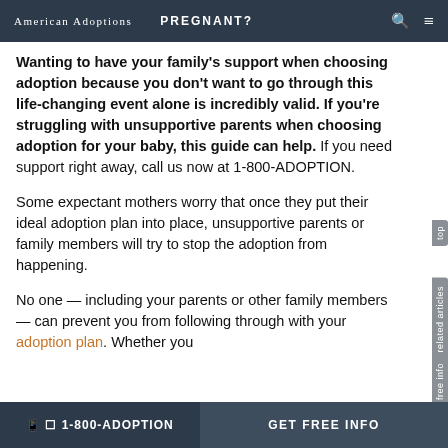American Adoptions   PREGNANT?
Wanting to have your family's support when choosing adoption because you don't want to go through this life-changing event alone is incredibly valid. If you're struggling with unsupportive parents when choosing adoption for your baby, this guide can help. If you need support right away, call us now at 1-800-ADOPTION.
Some expectant mothers worry that once they put their ideal adoption plan into place, unsupportive parents or family members will try to stop the adoption from happening.
No one — including your parents or other family members — can prevent you from following through with your adoption plan. Whether you
📞 1-800-ADOPTION   GET FREE INFO